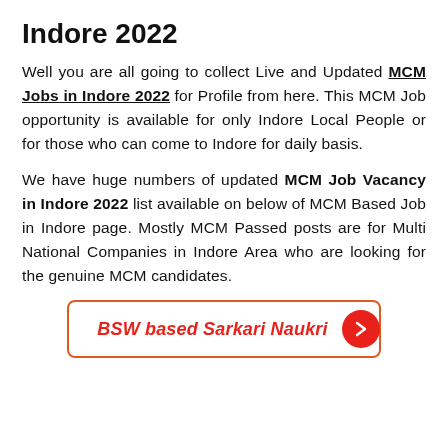Indore 2022
Well you are all going to collect Live and Updated MCM Jobs in Indore 2022 for Profile from here. This MCM Job opportunity is available for only Indore Local People or for those who can come to Indore for daily basis.
We have huge numbers of updated MCM Job Vacancy in Indore 2022 list available on below of MCM Based Job in Indore page. Mostly MCM Passed posts are for Multi National Companies in Indore Area who are looking for the genuine MCM candidates.
[Figure (other): Button/link element with red border reading 'BSW based Sarkari Naukri' with a red arrow circle icon]